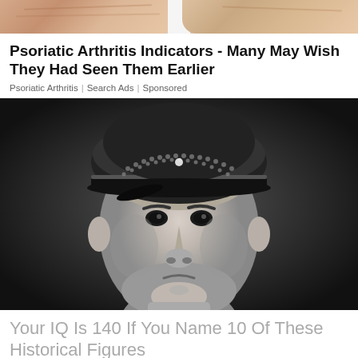[Figure (photo): Top portion of a photo showing human fingers/hands, cropped, skin tones visible]
Psoriatic Arthritis Indicators - Many May Wish They Had Seen Them Earlier
Psoriatic Arthritis | Search Ads | Sponsored
[Figure (photo): Black and white historical photograph of a man in a military cap, looking upward, stern expression]
Your IQ Is 140 If You Name 10 Of These Historical Figures